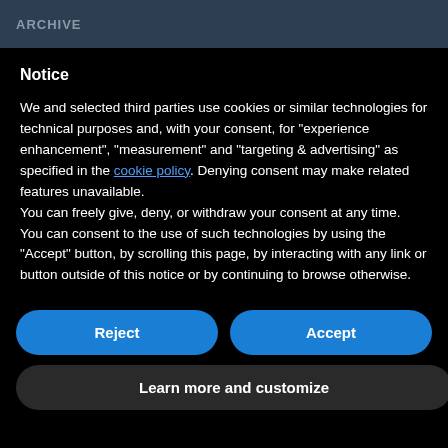ARCHIVE
Notice
We and selected third parties use cookies or similar technologies for technical purposes and, with your consent, for "experience enhancement", "measurement" and "targeting & advertising" as specified in the cookie policy. Denying consent may make related features unavailable.
You can freely give, deny, or withdraw your consent at any time.
You can consent to the use of such technologies by using the "Accept" button, by scrolling this page, by interacting with any link or button outside of this notice or by continuing to browse otherwise.
Reject
Accept
Learn more and customize